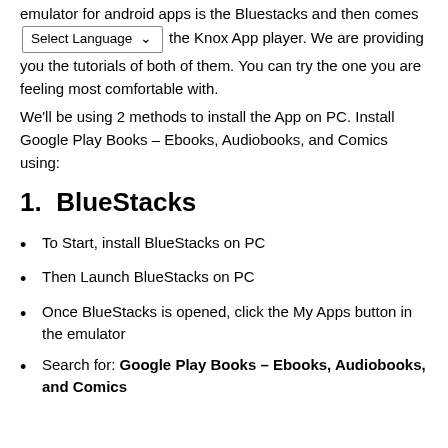emulator for android apps is the Bluestacks and then comes the Knox App player. We are providing you the tutorials of both of them. You can try the one you are feeling most comfortable with.
We'll be using 2 methods to install the App on PC. Install Google Play Books – Ebooks, Audiobooks, and Comics using:
1.  BlueStacks
To Start, install BlueStacks on PC
Then Launch BlueStacks on PC
Once BlueStacks is opened, click the My Apps button in the emulator
Search for: Google Play Books – Ebooks, Audiobooks, and Comics